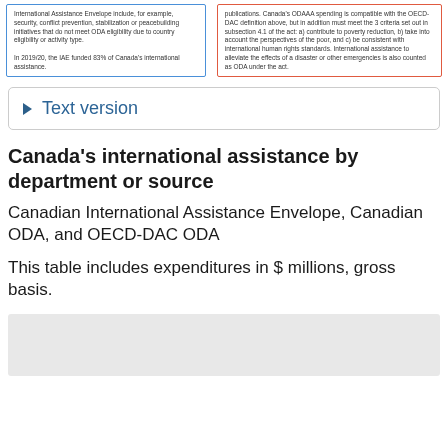International Assistance Envelope include, for example, security, conflict prevention, stabilization or peacebuilding initiatives that do not meet ODA eligibility due to country eligibility or activity type. In 2019/20, the IAE funded 83% of Canada's international assistance.
publications. Canada's ODAAA spending is compatible with the OECD-DAC definition above, but in addition must meet the 3 criteria set out in subsection 4.1 of the act: a) contribute to poverty reduction, b) take into account the perspectives of the poor, and c) be consistent with international human rights standards. International assistance to alleviate the effects of a disaster or other emergencies is also counted as ODA under the act.
Text version
Canada's international assistance by department or source
Canadian International Assistance Envelope, Canadian ODA, and OECD-DAC ODA
This table includes expenditures in $ millions, gross basis.